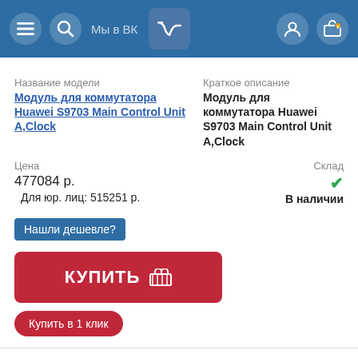Мы в ВК
Название модели
Модуль для коммутатора Huawei S9703 Main Control Unit A,Clock
Краткое описание
Модуль для коммутатора Huawei S9703 Main Control Unit A,Clock
Цена
477084 р.  Для юр. лиц: 515251 р.
Склад
В наличии
Нашли дешевле?
КУПИТЬ
Купить в 1 клик
Артикул
A0000029688
Парт. номер
EH1BS9706E01
[Figure (photo): Photo of Huawei S9703 network switch module, black chassis with ports visible at bottom right corner]